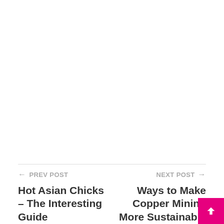← PREV POST | Hot Asian Chicks – The Interesting Guide
NEXT POST → | Ways to Make Copper Mining More Sustainable